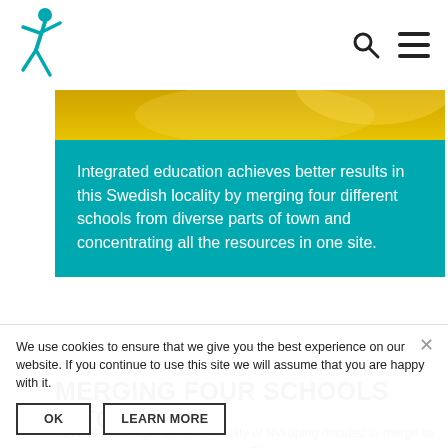Navigation bar with logo and search/menu icons
[Figure (photo): Gold/yellow abstract background image, partially cropped]
Integrated education achieves better results in this Swedish locality by merging four different schools from diverse parts of town and concentrating all the resources in one site.
MERGING FOUR SCHOOLS INTO ONE
Several years ago, the Municipality of Nyköping decided to merge its four badly concentrated resources. The idea was that if children from diverse parts of town are allocated to different schools this reinforces ethnic and social segregation.
We use cookies to ensure that we give you the best experience on our website. If you continue to use this site we will assume that you are happy with it.